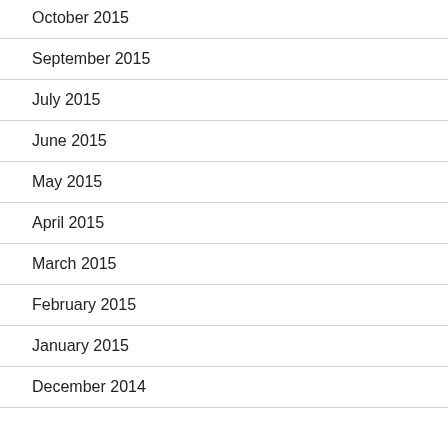October 2015
September 2015
July 2015
June 2015
May 2015
April 2015
March 2015
February 2015
January 2015
December 2014